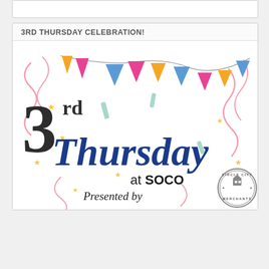3RD THURSDAY CELEBRATION!
[Figure (illustration): 3rd Thursday at SOCO promotional image with colorful bunting/pennant flags at top, confetti and swirl decorations, large '3rd' text in dark serif font, 'Thursday' in large blue italic serif font, 'at SOCO' in bold black text, 'Presented by' in italic monospace font, and a Circle City Merchants circular badge/logo in the bottom right corner.]